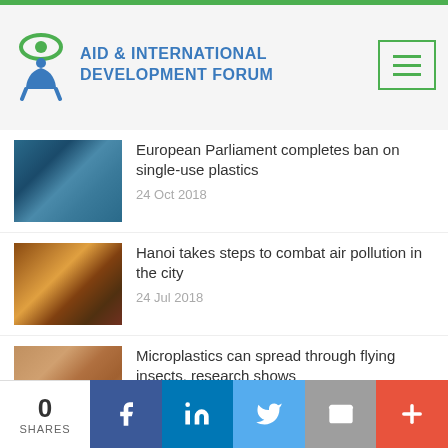[Figure (logo): Aid & International Development Forum logo with eye/person icon]
European Parliament completes ban on single-use plastics
24 Oct 2018
Hanoi takes steps to combat air pollution in the city
24 Jul 2018
Microplastics can spread through flying insects, research shows
19 Sep 2018
Health benefits of climate action far outweigh the costs,
0 SHARES